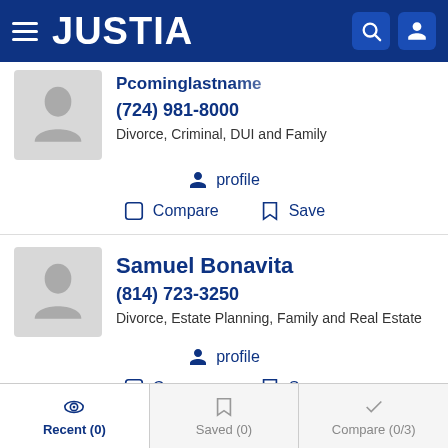JUSTIA
(724) 981-8000
Divorce, Criminal, DUI and Family
profile
Compare   Save
Samuel Bonavita
(814) 723-3250
Divorce, Estate Planning, Family and Real Estate
profile
Compare   Save
Recent (0)   Saved (0)   Compare (0/3)